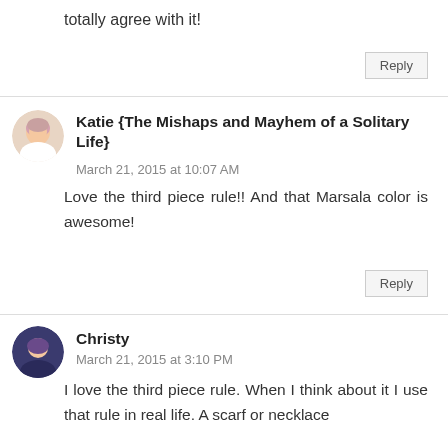totally agree with it!
Reply
Katie {The Mishaps and Mayhem of a Solitary Life}
March 21, 2015 at 10:07 AM
Love the third piece rule!! And that Marsala color is awesome!
Reply
Christy
March 21, 2015 at 3:10 PM
I love the third piece rule. When I think about it I use that rule in real life. A scarf or necklace